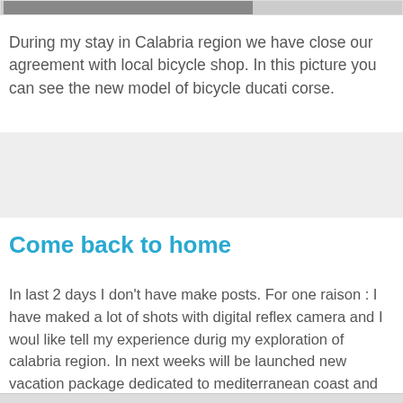[Figure (photo): Partial photo strip visible at top of page, cropped image of bicycle or outdoor scene]
During my stay in Calabria region we have close our agreement with local bicycle shop. In this picture you can see the new model of bicycle ducati corse.
[Figure (other): Gray placeholder/advertisement box]
Come back to home
In last 2 days I don't have make posts. For one raison : I have maked a lot of shots with digital reflex camera and I woul like tell my experience durig my exploration of calabria region. In next weeks will be launched new vacation package dedicated to mediterranean coast and ancient villages of Amalfi and Calabria regions. Looking for my retourn at the desk...
Sent from my BlackBerry®